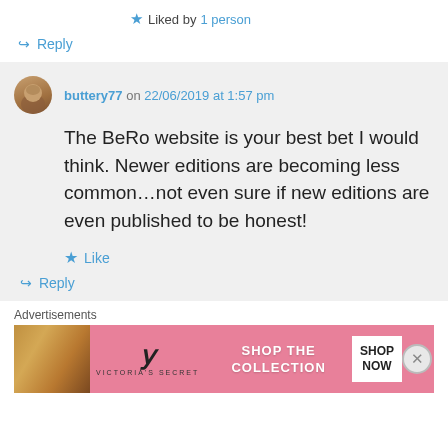★ Liked by 1 person
↪ Reply
buttery77 on 22/06/2019 at 1:57 pm
The BeRo website is your best bet I would think. Newer editions are becoming less common…not even sure if new editions are even published to be honest!
★ Like
↪ Reply
Advertisements
[Figure (other): Victoria's Secret advertisement banner: SHOP THE COLLECTION / SHOP NOW button]